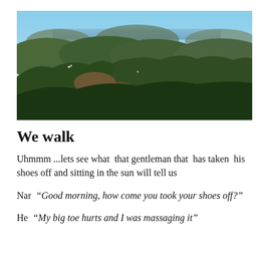[Figure (photo): Aerial landscape photo showing rolling forested hills and mountains with a blue sky and a body of water visible in the distance. The terrain features dense green and brown vegetation with valleys and ridgelines.]
We walk
Uhmmm ...lets see what  that gentleman that  has taken  his shoes off and sitting in the sun will tell us
Nar “Good morning, how come you took your shoes off?”
He “My big toe hurts and I was massaging it”